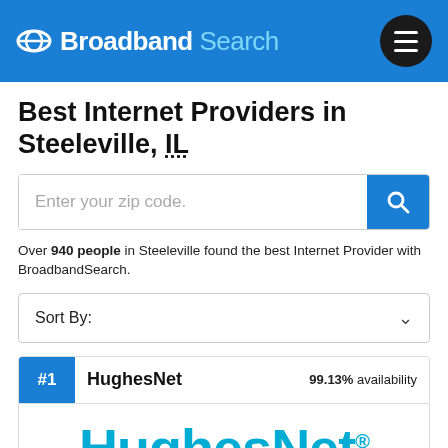Broadband Search
Best Internet Providers in Steeleville, IL
Enter your zip code.
Over 940 people in Steeleville found the best Internet Provider with BroadbandSearch.
Sort By:
#1  HughesNet  99.13% availability
[Figure (logo): HughesNet logo in teal/cyan color with registered trademark symbol]